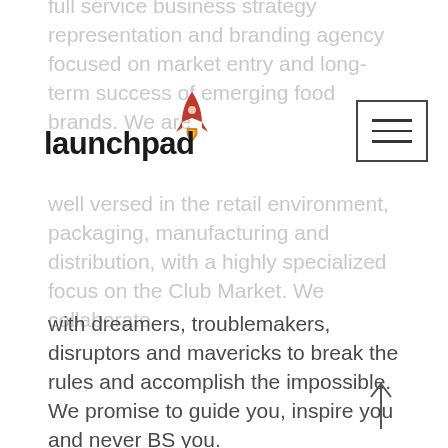full service business strategy representation and branding agency focused on market entry and long-term success of emerging food brands. We are well versed in the retail environment, packaging, manufacturing and distribution, with a highly specialized focus on the Club Market. We collaborate with dreamers, troublemakers, disruptors and mavericks to break the rules and accomplish the impossible. We promise to guide you, inspire you and never BS you.
[Figure (logo): LaunchPad logo with red rocket icon above the text]
[Figure (other): Hamburger/navigation menu icon - three horizontal lines in a rectangle border]
LaunchPad® and the LaunchPad logo® are among the trademarks of LaunchPad Group USA LLC. Other trademarks belong to their respective owners. LaunchPad reserves the right to alter product and services offerings, and specifications and pricing at